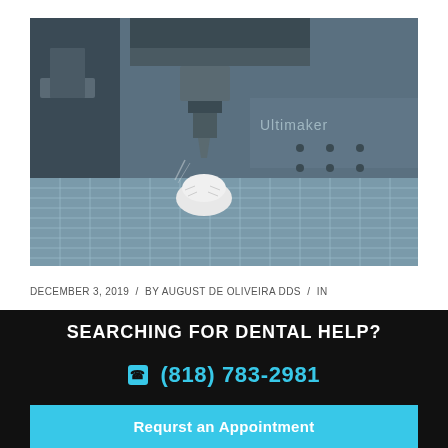[Figure (photo): Close-up photo of a CNC milling machine or 3D printer making a dental crown/prosthetic on a grid platform, with the Ultimaker branding visible in the background. Industrial machinery with metal cutting head above a white dental piece.]
DECEMBER 3, 2019  /  BY AUGUST DE OLIVEIRA DDS  /  IN
SEARCHING FOR DENTAL HELP?
(818) 783-2981
Requrst an Appointment